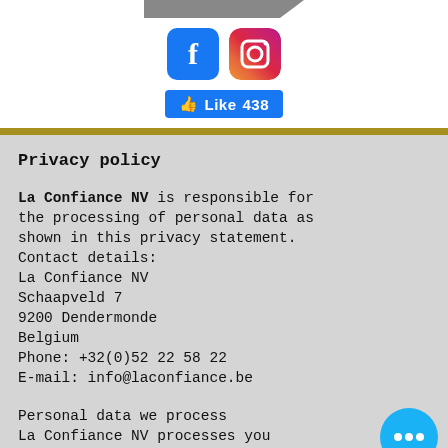[Figure (logo): Partial logo bar at top of page, grey diagonal shape]
[Figure (illustration): Facebook and Instagram social media icons]
[Figure (illustration): Facebook Like button showing 438 likes]
Privacy policy
La Confiance NV is responsible for the processing of personal data as shown in this privacy statement. Contact details: La Confiance NV Schaapveld 7 9200 Dendermonde Belgium Phone: +32(0)52 22 58 22 E-mail: info@laconfiance.be
Personal data we process La Confiance NV processes your personal data by using our services